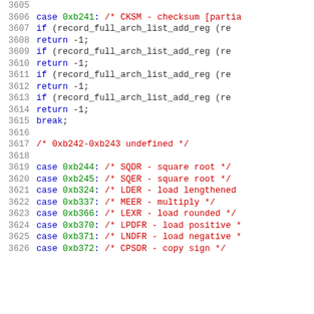Source code listing, lines 3605-3626, showing case statements for opcodes 0xb241-0xb373
[Figure (screenshot): Code editor screenshot showing C source code with line numbers 3605-3626, featuring syntax highlighting with blue keywords, red comments, and green hex values]